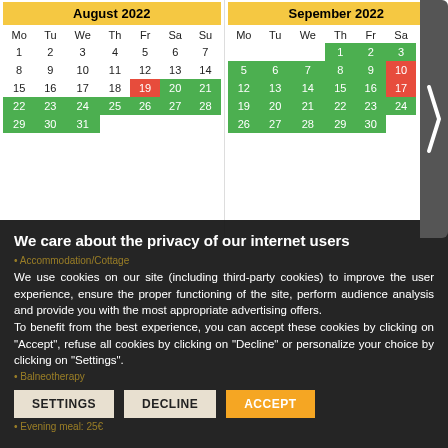[Figure (other): Two-month calendar view showing August 2022 and September 2022. August: weeks 1-31, with dates 19 highlighted red, 20-21 green, 22-28 green, 29-31 green. September: dates 1-3 green, 5-10 green (10 red), 12-17 green (17 red), 19-24 green, 26-30 green. A dark arrow/chevron overlays the right edge of the September calendar.]
We care about the privacy of our internet users
We use cookies on our site (including third-party cookies) to improve the user experience, ensure the proper functioning of the site, perform audience analysis and provide you with the most appropriate advertising offers.
To benefit from the best experience, you can accept these cookies by clicking on "Accept", refuse all cookies by clicking on "Decline" or personalize your choice by clicking on "Settings".